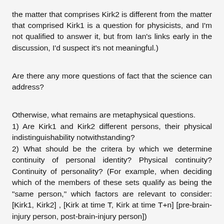the matter that comprises Kirk2 is different from the matter that comprised Kirk1 is a question for physicists, and I'm not qualified to answer it, but from Ian's links early in the discussion, I'd suspect it's not meaningful.)
Are there any more questions of fact that the science can address?
Otherwise, what remains are metaphysical questions.
1) Are Kirk1 and Kirk2 different persons, their physical indistinguishability notwithstanding?
2) What should be the critera by which we determine continuity of personal identity? Physical continuity? Continuity of personality? (For example, when deciding which of the members of these sets qualify as being the "same person," which factors are relevant to consider: [Kirk1, Kirk2] , [Kirk at time T, Kirk at time T+n] [pre-brain-injury person, post-brain-injury person])